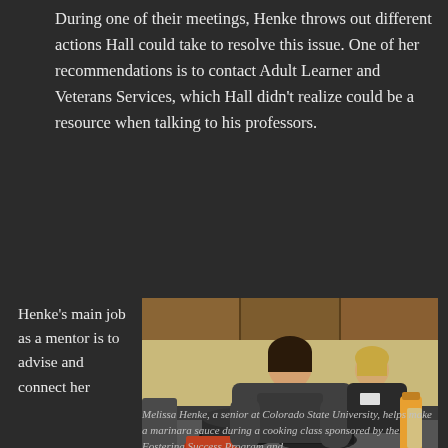During one of their meetings, Henke throws out different actions Hall could take to resolve this issue. One of her recommendations is to contact Adult Learner and Veterans Services, which Hall didn't realize could be a resource when talking to his professors.
Henke's main job as a mentor is to advise and connect her
[Figure (photo): Two women in a kitchen cooking together. One woman with dark hair is stirring pots on a stove, while another woman with blonde hair stands in the background smiling.]
Melissa Henke, a senior at Colorado State University, helps make a marinara sauce during a cooking class sponsored by the Fostering Success Program and